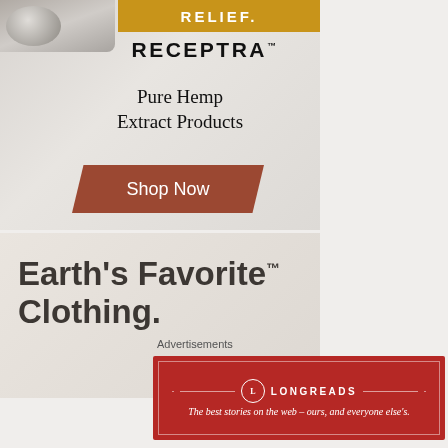[Figure (illustration): Receptra advertisement showing 'RELIEF.' in gold banner, RECEPTRA brand name, Pure Hemp Extract Products text, and Shop Now button on textured gray background]
[Figure (illustration): Earth's Favorite™ Clothing advertisement on light beige background with bold dark text]
Advertisements
[Figure (logo): Longreads red banner advertisement with logo and tagline: The best stories on the web – ours, and everyone else's.]